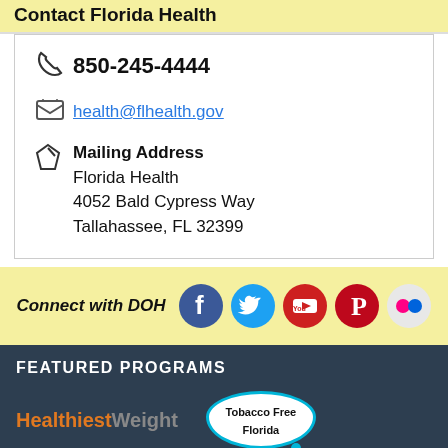Contact Florida Health
850-245-4444
health@flhealth.gov
Mailing Address
Florida Health
4052 Bald Cypress Way
Tallahassee, FL 32399
[Figure (infographic): Connect with DOH social media icons: Facebook, Twitter, YouTube, Pinterest, Flickr]
FEATURED PROGRAMS
[Figure (logo): HealthiestWeight logo in orange and grey]
[Figure (logo): Tobacco Free Florida logo in a cloud/bubble shape with cyan border]